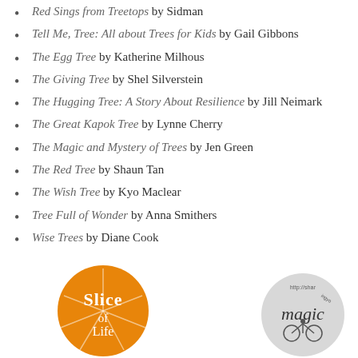Red Sings from Treetops by Sidman
Tell Me, Tree: All about Trees for Kids by Gail Gibbons
The Egg Tree by Katherine Milhous
The Giving Tree by Shel Silverstein
The Hugging Tree: A Story About Resilience by Jill Neimark
The Great Kapok Tree by Lynne Cherry
The Magic and Mystery of Trees by Jen Green
The Red Tree by Shaun Tan
The Wish Tree by Kyo Maclear
Tree Full of Wonder by Anna Smithers
Wise Trees by Diane Cook
[Figure (logo): Orange circular Slice of Life logo with pie/orange slice design and text 'Slice Lif...']
[Figure (logo): Gray circular magic sharingyourstory.com logo with cursive 'magic' text and URL http://sharingyourstory...]